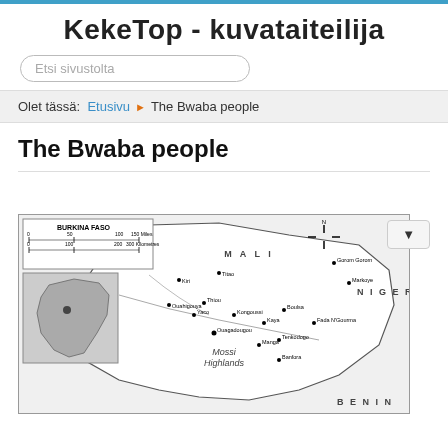KekeTop - kuvataiteilija
Etsi sivustolta
Olet tässä: Etusivu ▶ The Bwaba people
The Bwaba people
[Figure (map): Black and white map of Burkina Faso showing cities, regions including Mossi Highlands, neighboring countries Mali, Niger, Benin, and an inset showing Africa with location highlighted. Scale bar in miles and kilometers.]